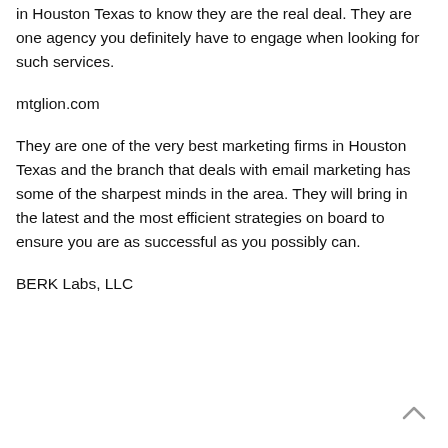in Houston Texas to know they are the real deal. They are one agency you definitely have to engage when looking for such services.
mtglion.com
They are one of the very best marketing firms in Houston Texas and the branch that deals with email marketing has some of the sharpest minds in the area. They will bring in the latest and the most efficient strategies on board to ensure you are as successful as you possibly can.
BERK Labs, LLC